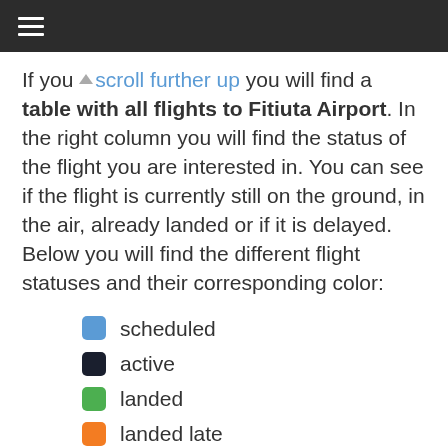≡ (hamburger menu)
If you ↑scroll further up you will find a table with all flights to Fitiuta Airport. In the right column you will find the status of the flight you are interested in. You can see if the flight is currently still on the ground, in the air, already landed or if it is delayed. Below you will find the different flight statuses and their corresponding color:
scheduled
active
landed
landed late
cancelled
unknown